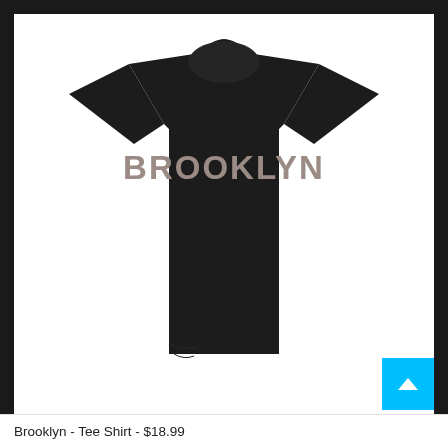[Figure (photo): A black t-shirt with the word BROOKLYN printed in a blocky, slightly fuzzy tan/taupe font across the chest. The shirt is photographed flat against a white background.]
Brooklyn - Tee Shirt - $18.99